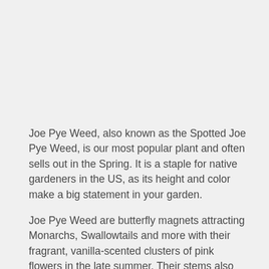Joe Pye Weed, also known as the Spotted Joe Pye Weed, is our most popular plant and often sells out in the Spring. It is a staple for native gardeners in the US, as its height and color make a big statement in your garden.
Joe Pye Weed are butterfly magnets attracting Monarchs, Swallowtails and more with their fragrant, vanilla-scented clusters of pink flowers in the late summer. Their stems also take on the